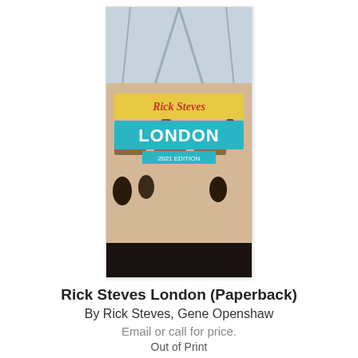[Figure (photo): Book cover of Rick Steves London (Paperback) showing a teal banner with LONDON text and an outdoor cafe scene]
Rick Steves London (Paperback)
By Rick Steves, Gene Openshaw
Email or call for price.
Out of Print
[Figure (photo): Book cover of 50 States 500 Campgrounds showing lake and forest scenery with large white text]
50 States, 500 Campgrounds: Where to Go, When to Go, What to